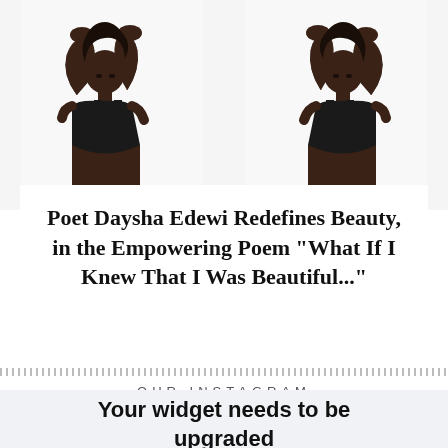[Figure (photo): Two mirrored photos of a woman in a black tank top with arms raised above her head, shown from the waist up against a white/light background]
Poet Daysha Edewi Redefines Beauty, in the Empowering Poem “What If I Knew That I Was Beautiful...”
OUR INSTAGRAM
Your widget needs to be upgraded